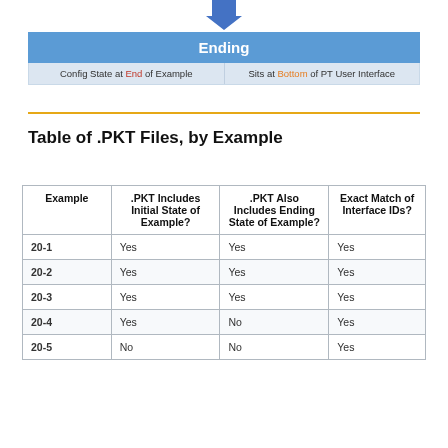[Figure (flowchart): Flowchart ending block showing 'Ending' box with arrow pointing down into it, and two sub-labels: 'Config State at End of Example' and 'Sits at Bottom of PT User Interface']
Table of .PKT Files, by Example
| Example | .PKT Includes Initial State of Example? | .PKT Also Includes Ending State of Example? | Exact Match of Interface IDs? |
| --- | --- | --- | --- |
| 20-1 | Yes | Yes | Yes |
| 20-2 | Yes | Yes | Yes |
| 20-3 | Yes | Yes | Yes |
| 20-4 | Yes | No | Yes |
| 20-5 | No | No | Yes |